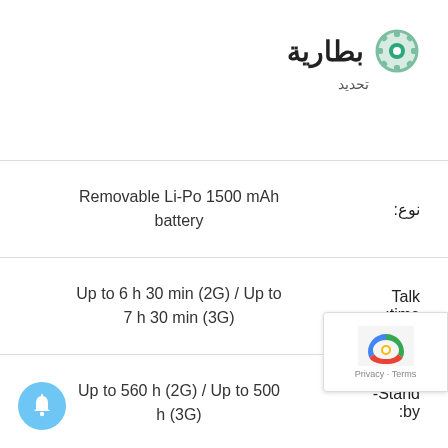بطارية
تحديد
| القيمة | المواصفة |
| --- | --- |
| Removable Li-Po 1500 mAh battery | نوع: |
| Up to 6 h 30 min (2G) / Up to 7 h 30 min (3G) | Talk time: |
| Up to 560 h (2G) / Up to 500 h (3G) | Stand-by: |
| Up to 12 h | Music play: |